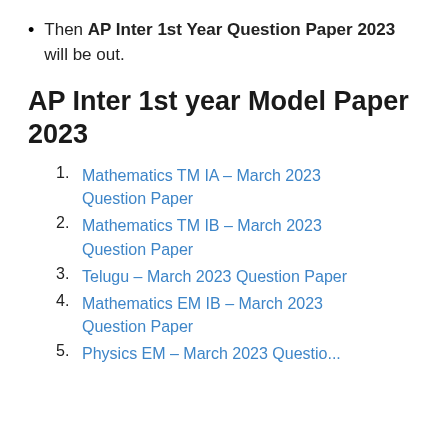Then AP Inter 1st Year Question Paper 2023 will be out.
AP Inter 1st year Model Paper 2023
Mathematics TM IA – March 2023 Question Paper
Mathematics TM IB – March 2023 Question Paper
Telugu – March 2023 Question Paper
Mathematics EM IB – March 2023 Question Paper
Physics EM – March 2023 Question Paper (partial)